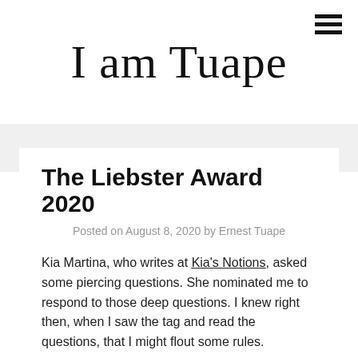I am Tuape
The Liebster Award 2020
Posted on August 8, 2020 by Ernest Tuape
Kia Martina, who writes at Kia's Notions, asked some piercing questions. She nominated me to respond to those deep questions. I knew right then, when I saw the tag and read the questions, that I might flout some rules.
I had questions of my own too. How honest should I be?